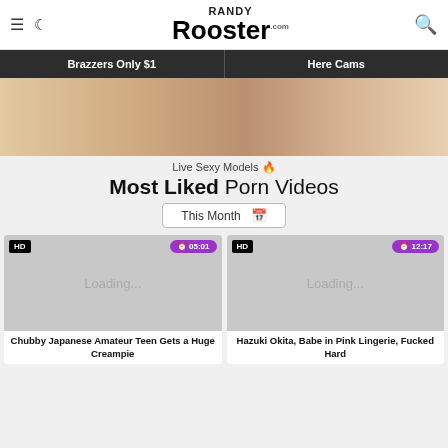Randy Rooster .com — navigation header with hamburger menu, moon/dark mode icon, logo, and search icon
Brazzers Only $1 | Here Cams
[Figure (photo): Close-up skin tone hero banner image]
Live Sexy Models 🔥
Most Liked Porn Videos
This Month 📅
[Figure (screenshot): Video thumbnail loading placeholder — HD badge, duration 05:01, Loading... text]
Chubby Japanese Amateur Teen Gets a Huge Creampie
[Figure (screenshot): Video thumbnail loading placeholder — HD badge, duration 12:17, Loading... text]
Hazuki Okita, Babe in Pink Lingerie, Fucked Hard